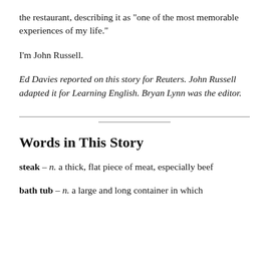the restaurant, describing it as "one of the most memorable experiences of my life."
I'm John Russell.
Ed Davies reported on this story for Reuters. John Russell adapted it for Learning English. Bryan Lynn was the editor.
Words in This Story
steak – n. a thick, flat piece of meat, especially beef
bath tub – n. a large and long container in which